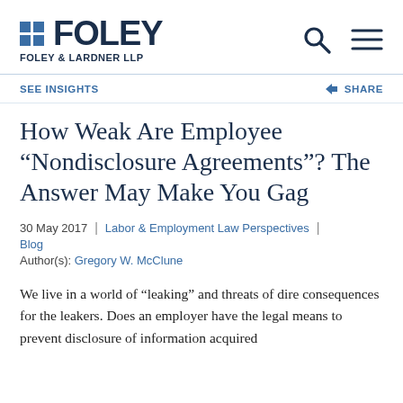FOLEY | FOLEY & LARDNER LLP
SEE INSIGHTS   SHARE
How Weak Are Employee “Nondisclosure Agreements”? The Answer May Make You Gag
30 May 2017 | Labor & Employment Law Perspectives | Blog
Author(s): Gregory W. McClune
We live in a world of “leaking” and threats of dire consequences for the leakers. Does an employer have the legal means to prevent disclosure of information acquired